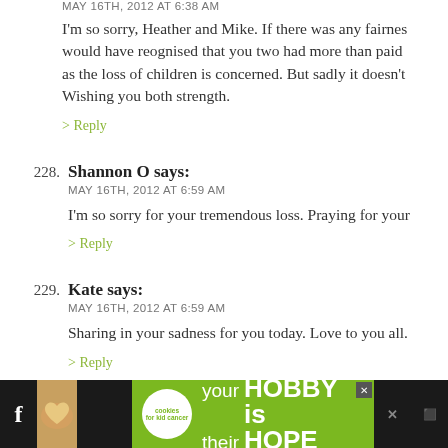MAY 16TH, 2012 AT 6:38 AM
I'm so sorry, Heather and Mike. If there was any fairnes would have reognised that you two had more than paid as the loss of children is concerned. But sadly it doesn't Wishing you both strength.
> Reply
228. Shannon O says: MAY 16TH, 2012 AT 6:59 AM — I'm so sorry for your tremendous loss. Praying for your > Reply
229. Kate says: MAY 16TH, 2012 AT 6:59 AM — Sharing in your sadness for you today. Love to you all. > Reply
230. Jana says:
[Figure (infographic): Advertisement banner at the bottom: 'your HOBBY is their HOPE' with a cookies logo on a green background, flanked by social media icons and a dark bar.]